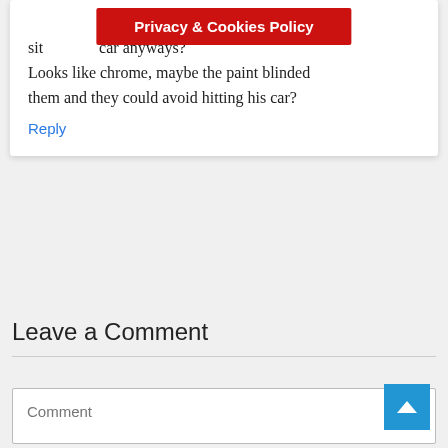[Figure (screenshot): Privacy & Cookies Policy red banner overlay]
sit car anyways? Looks like chrome, maybe the paint blinded them and they could avoid hitting his car?
Reply
Leave a Comment
Comment